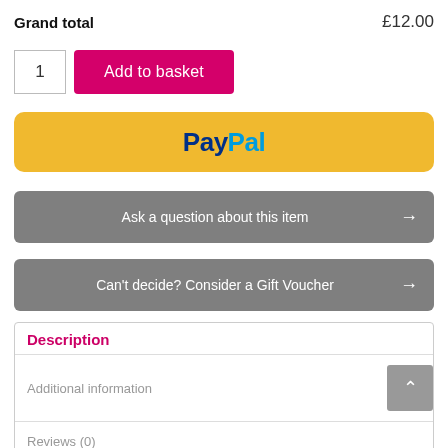Grand total   £12.00
[Figure (screenshot): Quantity input box showing '1' and a pink 'Add to basket' button]
[Figure (screenshot): PayPal payment button with gold/yellow background and PayPal logo in blue and dark blue]
Ask a question about this item →
Can't decide? Consider a Gift Voucher →
Description
Additional information
Reviews (0)